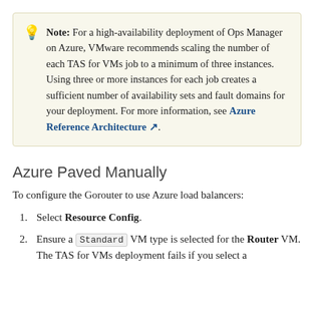Note: For a high-availability deployment of Ops Manager on Azure, VMware recommends scaling the number of each TAS for VMs job to a minimum of three instances. Using three or more instances for each job creates a sufficient number of availability sets and fault domains for your deployment. For more information, see Azure Reference Architecture.
Azure Paved Manually
To configure the Gorouter to use Azure load balancers:
Select Resource Config.
Ensure a Standard VM type is selected for the Router VM. The TAS for VMs deployment fails if you select a